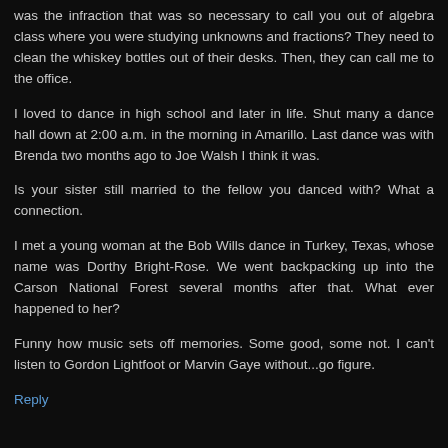was the infraction that was so necessary to call you out of algebra class where you were studying unknowns and fractions? They need to clean the whiskey bottles out of their desks. Then, they can call me to the office.
I loved to dance in high school and later in life. Shut many a dance hall down at 2:00 a.m. in the morning in Amarillo. Last dance was with Brenda two months ago to Joe Walsh I think it was.
Is your sister still married to the fellow you danced with? What a connection.
I met a young woman at the Bob Wills dance in Turkey, Texas, whose name was Dorthy Bright-Rose. We went backpacking up into the Carson National Forest several months after that. What ever happened to her?
Funny how music sets off memories. Some good, some not. I can't listen to Gordon Lightfoot or Marvin Gaye without...go figure.
Reply